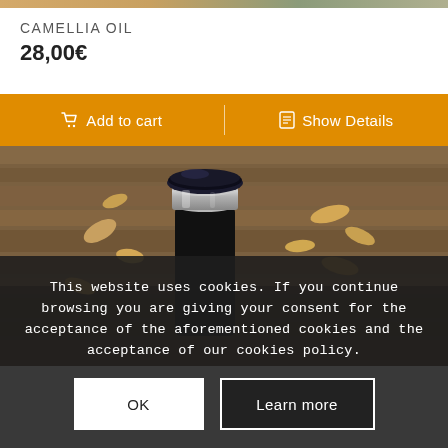CAMELLIA OIL
28,00€
Add to cart | Show Details
[Figure (photo): A cosmetic oil bottle with a dark circular lid and metallic silver cap, surrounded by dried flower petals on a wooden surface.]
This website uses cookies. If you continue browsing you are giving your consent for the acceptance of the aforementioned cookies and the acceptance of our cookies policy.
OK    Learn more